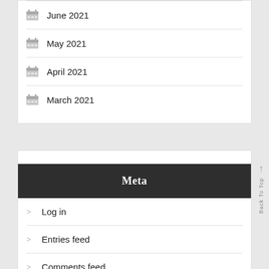June 2021
May 2021
April 2021
March 2021
Meta
Log in
Entries feed
Comments feed